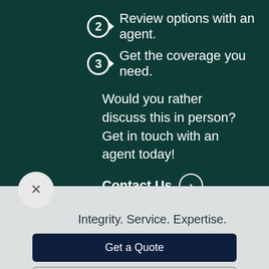2 Review options with an agent.
3 Get the coverage you need.
Would you rather discuss this in person? Get in touch with an agent today!
Contact Us
Integrity. Service. Expertise.
Get a Quote
Contact Us